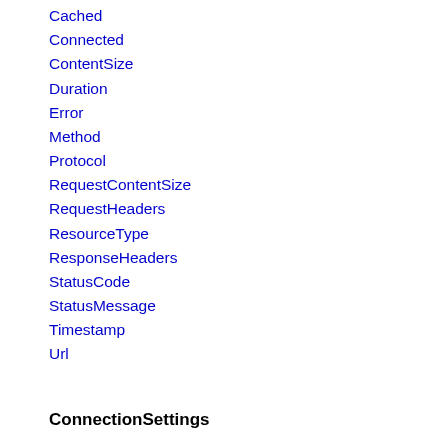Cached
Connected
ContentSize
Duration
Error
Method
Protocol
RequestContentSize
RequestHeaders
ResourceType
ResponseHeaders
StatusCode
StatusMessage
Timestamp
Url
ConnectionSettings